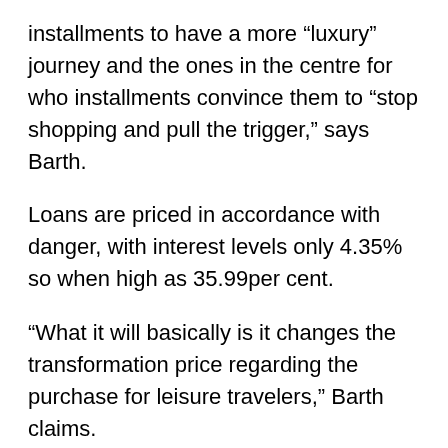installments to have a more “luxury” journey and the ones in the centre for who installments convince them to “stop shopping and pull the trigger,” says Barth.
Loans are priced in accordance with danger, with interest levels only 4.35% so when high as 35.99per cent.
“What it will basically is it changes the transformation price regarding the purchase for leisure travelers,” Barth claims.
“ exactly what we actually are is an advertising business, making use of re re re payments to push advertising metrics.”